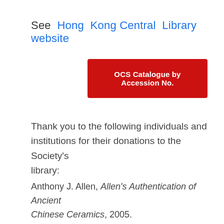See  Hong  Kong Central  Library website
[Figure (other): Red button labeled 'OCS Catalogue by Accession No.']
Thank you to the following individuals and institutions for their donations to the Society's library:
Anthony J. Allen, Allen's Authentication of Ancient Chinese Ceramics, 2005.
Malcolm  Barnett, Robert  D. Jacobsen:  Imperial Silks – Ch'ing  Dynasty Textiles in the  Minneapolis Institute of Arts, 2000.